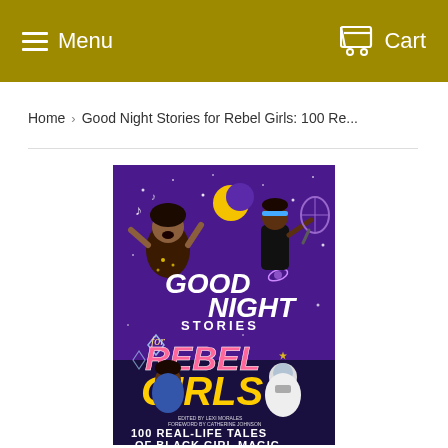Menu   Cart
Home  >  Good Night Stories for Rebel Girls: 100 Re...
[Figure (photo): Book cover of 'Good Night Stories for Rebel Girls: 100 Real-Life Tales of Black Girl Magic' on a purple background, featuring illustrated portraits of Black women including a singer, a tennis player, and an astronaut, with decorative stars, moons, and the stylized book title text.]